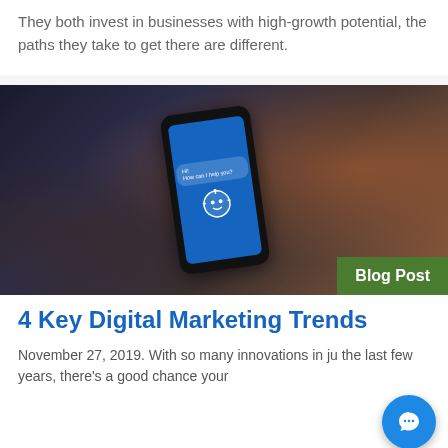They both invest in businesses with high-growth potential, the paths they take to get there are different.
[Figure (photo): Person holding a smartphone displaying a chatbot interface with blue screen showing a robot icon and chat bubble saying Hi! How can I help you?]
Blog Post
4 Key Digital Marketing Trends
November 27, 2019. With so many innovations in just the last few years, there's a good chance your